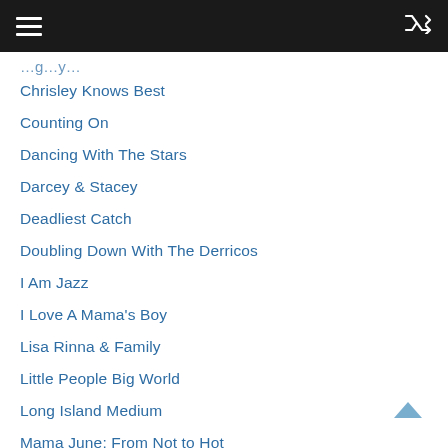Navigation header with menu and shuffle icons
Chrisley Knows Best
Counting On
Dancing With The Stars
Darcey & Stacey
Deadliest Catch
Doubling Down With The Derricos
I Am Jazz
I Love A Mama's Boy
Lisa Rinna & Family
Little People Big World
Long Island Medium
Mama June: From Not to Hot
Married At First Sight